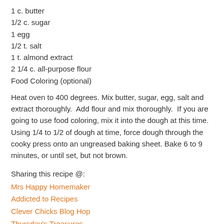1 c. butter
1/2 c. sugar
1 egg
1/2 t. salt
1 t. almond extract
2 1/4 c. all-purpose flour
Food Coloring (optional)
Heat oven to 400 degrees. Mix butter, sugar, egg, salt and extract thoroughly.  Add flour and mix thoroughly.  If you are going to use food coloring, mix it into the dough at this time. Using 1/4 to 1/2 of dough at time, force dough through the cooky press onto an ungreased baking sheet. Bake 6 to 9 minutes, or until set, but not brown.
Sharing this recipe @:
Mrs Happy Homemaker
Addicted to Recipes
Clever Chicks Blog Hop
Thursday's Treasures